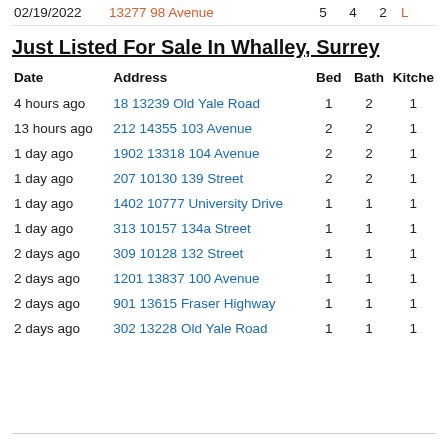| Date | Address | Bed | Bath | Kitchen |
| --- | --- | --- | --- | --- |
| 02/19/2022 | 13277 98 Avenue | 5 | 4 | 2 | L |
Just Listed For Sale In Whalley, Surrey
| Date | Address | Bed | Bath | Kitche |
| --- | --- | --- | --- | --- |
| 4 hours ago | 18 13239 Old Yale Road | 1 | 2 | 1 |
| 13 hours ago | 212 14355 103 Avenue | 2 | 2 | 1 |
| 1 day ago | 1902 13318 104 Avenue | 2 | 2 | 1 |
| 1 day ago | 207 10130 139 Street | 2 | 2 | 1 |
| 1 day ago | 1402 10777 University Drive | 1 | 1 | 1 |
| 1 day ago | 313 10157 134a Street | 1 | 1 | 1 |
| 2 days ago | 309 10128 132 Street | 1 | 1 | 1 |
| 2 days ago | 1201 13837 100 Avenue | 1 | 1 | 1 |
| 2 days ago | 901 13615 Fraser Highway | 1 | 1 | 1 |
| 2 days ago | 302 13228 Old Yale Road | 1 | 1 | 1 |